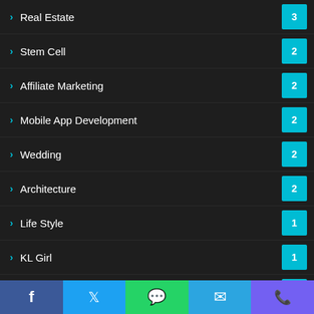Real Estate 3
Stem Cell 2
Affiliate Marketing 2
Mobile App Development 2
Wedding 2
Architecture 2
Life Style 1
KL Girl 1
Lawyer 1
Marketing 1
Education 1
Best hosting 1
Plumbing 1
Facebook | Twitter | WhatsApp | Telegram | Viber